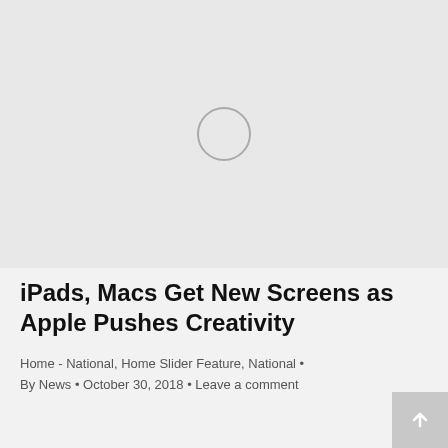[Figure (photo): Light gray image placeholder with a circular loading spinner icon in the center]
iPads, Macs Get New Screens as Apple Pushes Creativity
Home - National, Home Slider Feature, National •
By News • October 30, 2018 • Leave a comment